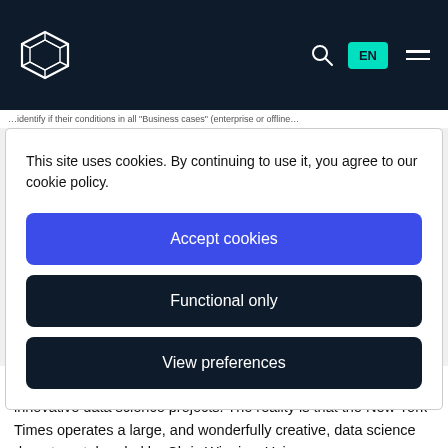[Figure (logo): Geometric diamond/crystal logo icon in white outline on dark navy background]
EN [navigation bar with search icon, EN button, and menu icon]
...identify if their conditions in all "Business cases" (enterprise or offline...
This site uses cookies. By continuing to use it, you agree to our cookie policy.
Accept cookies
Functional only
View preferences
room table, coffee in hand. You probably do not think of innovative data science projects. The reality is that the New York Times operates a large, and wonderfully creative, data science department, headed by Chris Wiggins. Using a